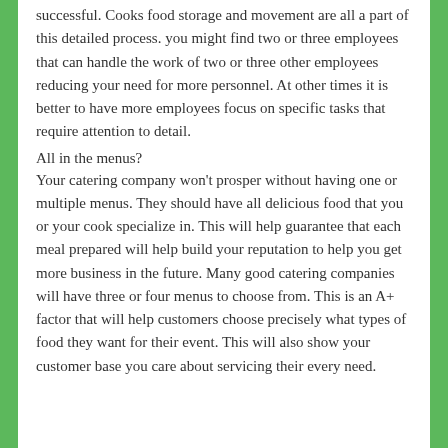successful. Cooks food storage and movement are all a part of this detailed process. you might find two or three employees that can handle the work of two or three other employees reducing your need for more personnel. At other times it is better to have more employees focus on specific tasks that require attention to detail.
All in the menus?
Your catering company won't prosper without having one or multiple menus. They should have all delicious food that you or your cook specialize in. This will help guarantee that each meal prepared will help build your reputation to help you get more business in the future. Many good catering companies will have three or four menus to choose from. This is an A+ factor that will help customers choose precisely what types of food they want for their event. This will also show your customer base you care about servicing their every need.